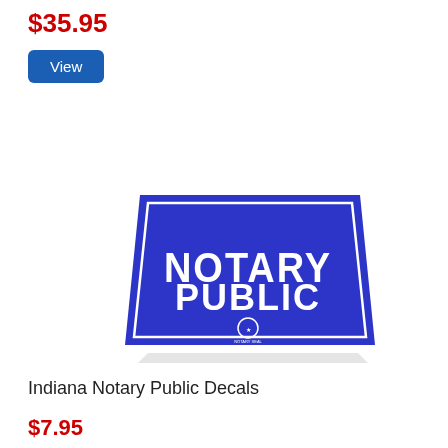$35.95
View
[Figure (photo): A blue trapezoid-shaped sign reading 'NOTARY PUBLIC' in large white arched letters, with a small circular seal/logo at the bottom center.]
Indiana Notary Public Decals
$7.95